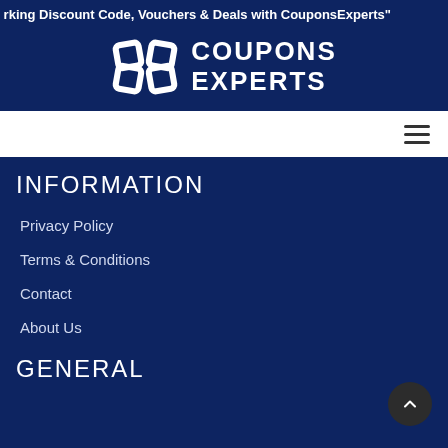rking Discount Code, Vouchers & Deals with CouponsExperts"
[Figure (logo): CouponsExperts logo with interlocking chain link icon and COUPONS EXPERTS text in white on dark blue background]
[Figure (screenshot): White navigation bar with hamburger menu icon on the right]
INFORMATION
Privacy Policy
Terms & Conditions
Contact
About Us
GENERAL